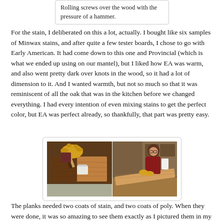Rolling screws over the wood with the pressure of a hammer.
For the stain, I deliberated on this a lot, actually. I bought like six samples of Minwax stains, and after quite a few tester boards, I chose to go with Early American. It had come down to this one and Provincial (which is what we ended up using on our mantel), but I liked how EA was warm, and also went pretty dark over knots in the wood, so it had a lot of dimension to it. And I wanted warmth, but not so much so that it was reminiscent of all the oak that was in the kitchen before we changed everything. I had every intention of even mixing stains to get the perfect color, but EA was perfect already, so thankfully, that part was pretty easy.
[Figure (photo): Two side-by-side photos: left shows a person wearing yellow gloves applying wood stain to a plank with a brush; right shows a woman in a red shirt staining a long wooden plank on a workbench.]
The planks needed two coats of stain, and two coats of poly. When they were done, it was so amazing to see them exactly as I pictured them in my head. Once they were actually up, I'm pretty sure I jumped up and down.